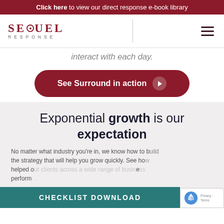Click here to view our direct response e-book library
[Figure (logo): Sequel Response logo with hamburger menu icon]
interact with each day.
[Figure (other): Dark red rounded button with text 'See Surround in action' and a play icon]
Exponential growth is our expectation
No matter what industry you're in, we know how to build the strategy that will help you grow quickly. See how we've helped our clients across a wide range of businesses perform...
[Figure (other): Teal checklist download banner bar at bottom]
[Figure (other): reCAPTCHA badge with Privacy and Terms links]